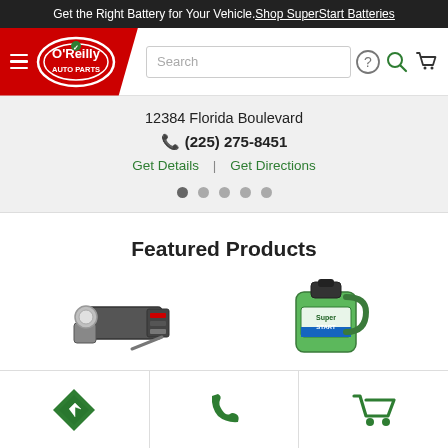Get the Right Battery for Your Vehicle. Shop SuperStart Batteries
[Figure (logo): O'Reilly Auto Parts logo with hamburger menu, search bar, help icon, search icon, and cart icon]
12384 Florida Boulevard
(225) 275-8451
Get Details | Get Directions
[Figure (infographic): Pagination dots row, 5 dots with first dot active/darker]
Featured Products
[Figure (photo): Trailer hitch ball mount product image]
[Figure (photo): Green Super Start battery cleaner jug product image]
[Figure (infographic): Bottom navigation bar with directions icon (green diamond with arrow), phone icon (green phone), and cart icon (green cart)]